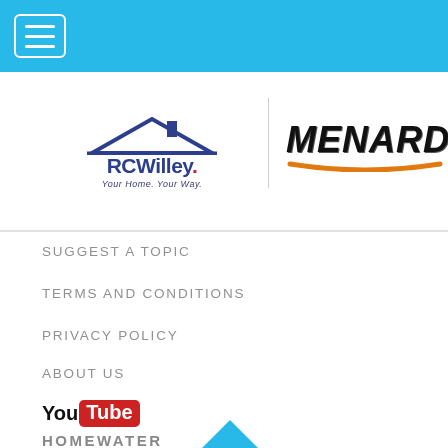[Figure (logo): Navigation menu hamburger icon button in header bar]
[Figure (logo): RC Willey logo with roof graphic and tagline 'Your Home. Your Way.']
[Figure (logo): Menards logo with orange swoosh]
SUGGEST A TOPIC
TERMS AND CONDITIONS
PRIVACY POLICY
ABOUT US
[Figure (logo): YouTube logo]
[Figure (logo): Partial homewater logo with blue triangle]